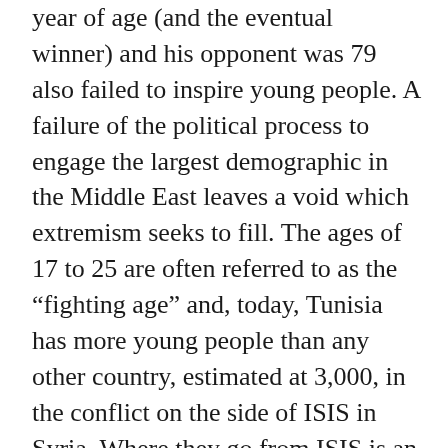year of age (and the eventual winner) and his opponent was 79 also failed to inspire young people. A failure of the political process to engage the largest demographic in the Middle East leaves a void which extremism seeks to fill. The ages of 17 to 25 are often referred to as the “fighting age” and, today, Tunisia has more young people than any other country, estimated at 3,000, in the conflict on the side of ISIS in Syria. Where they go from ISIS is an important security question for Tunisia and the West.
Given that the youth bulge in the world’s population will continue at least another decade, Washington needs to understand this key demographic and factor its impacts into planning. If Washington wants to move